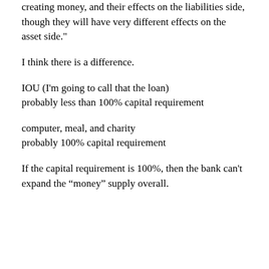creating money, and their effects on the liabilities side, though they will have very different effects on the asset side."
I think there is a difference.
IOU (I'm going to call that the loan)
probably less than 100% capital requirement
computer, meal, and charity
probably 100% capital requirement
If the capital requirement is 100%, then the bank can't expand the “money” supply overall.